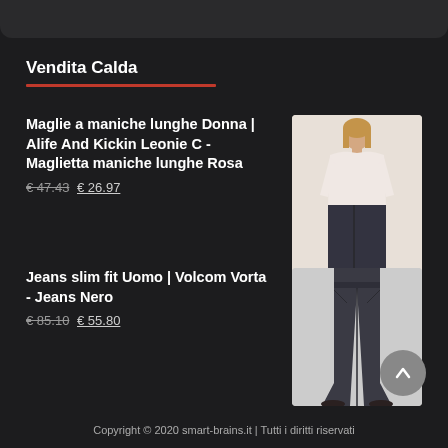Vendita Calda
Maglie a maniche lunghe Donna | Alife And Kickin Leonie C - Maglietta maniche lunghe Rosa
€ 47.43  € 26.97
[Figure (photo): Product photo: woman wearing a light pink long-sleeve top with dark pants]
Jeans slim fit Uomo | Volcom Vorta - Jeans Nero
€ 85.10  € 55.80
[Figure (photo): Product photo: dark jeans displayed on a model]
Copyright © 2020 smart-brains.it | Tutti i diritti riservati